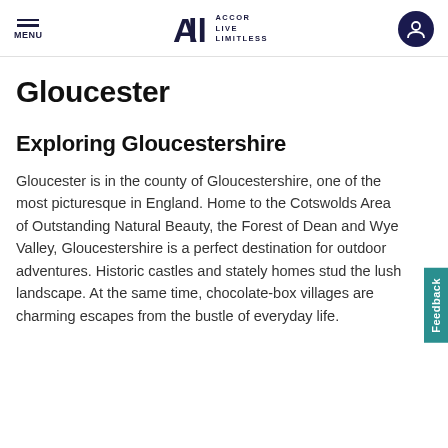MENU | ALL ACCOR LIVE LIMITLESS
Gloucester
Exploring Gloucestershire
Gloucester is in the county of Gloucestershire, one of the most picturesque in England. Home to the Cotswolds Area of Outstanding Natural Beauty, the Forest of Dean and Wye Valley, Gloucestershire is a perfect destination for outdoor adventures. Historic castles and stately homes stud the lush landscape. At the same time, chocolate-box villages are charming escapes from the bustle of everyday life.